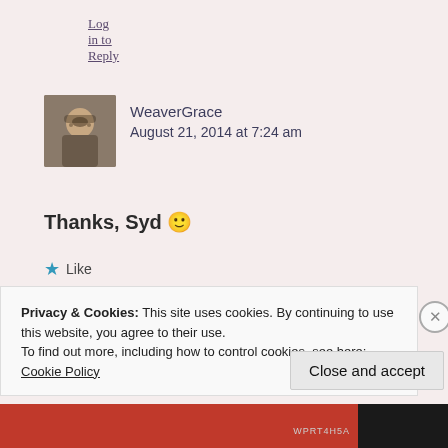Log in to Reply
WeaverGrace
August 21, 2014 at 7:24 am
Thanks, Syd 🙂
★ Like
Log in to Reply
Privacy & Cookies: This site uses cookies. By continuing to use this website, you agree to their use.
To find out more, including how to control cookies, see here: Cookie Policy
Close and accept